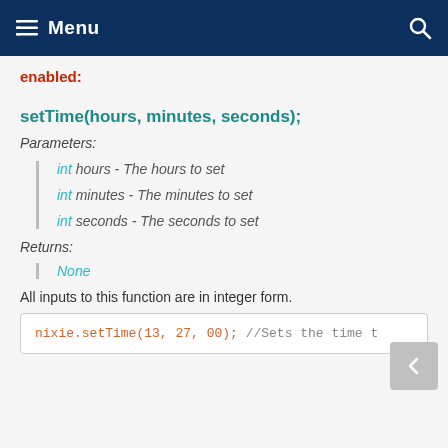Menu
enabled:
setTime(hours, minutes, seconds);
Parameters:
int hours - The hours to set
int minutes - The minutes to set
int seconds - The seconds to set
Returns:
None
All inputs to this function are in integer form.
nixie.setTime(13, 27, 00);     //Sets the time t